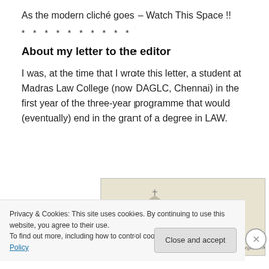As the modern cliché goes – Watch This Space !!
* * * * * * * * * *
About my letter to the editor
I was, at the time that I wrote this letter, a student at Madras Law College (now DAGLC, Chennai) in the first year of the three-year programme that would (eventually) end in the grant of a degree in LAW.
[Figure (photo): Black and white photograph of Madras Law College showing domed towers, captioned 'Madras Law College, c 1905']
Privacy & Cookies: This site uses cookies. By continuing to use this website, you agree to their use.
To find out more, including how to control cookies, see here: Cookie Policy